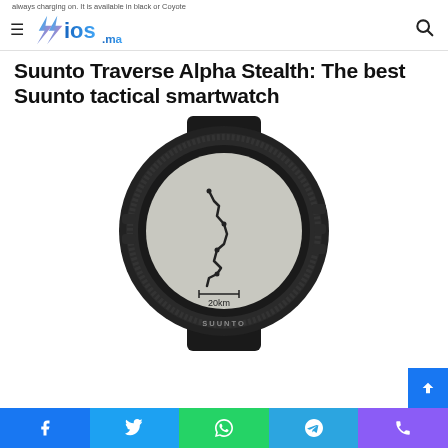always charging on. It is available in black or Coyote
ios.ma
Suunto Traverse Alpha Stealth: The best Suunto tactical smartwatch
[Figure (photo): Suunto Traverse Alpha Stealth smartwatch in black with textile band, displaying a GPS track map on screen with 20km scale]
Facebook, Twitter, WhatsApp, Telegram, Phone social share buttons